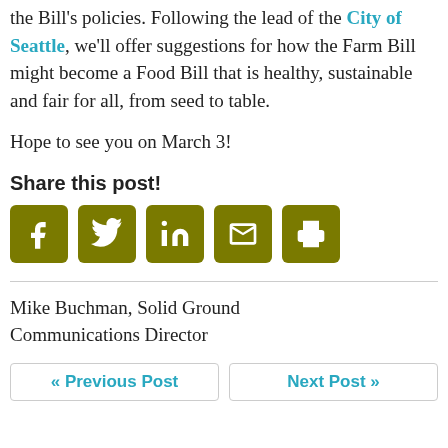the Bill's policies. Following the lead of the City of Seattle, we'll offer suggestions for how the Farm Bill might become a Food Bill that is healthy, sustainable and fair for all, from seed to table.
Hope to see you on March 3!
Share this post!
[Figure (other): Row of five olive/dark-yellow square icon buttons for sharing: Facebook, Twitter, LinkedIn, Email, Print]
Mike Buchman, Solid Ground Communications Director
« Previous Post
Next Post »